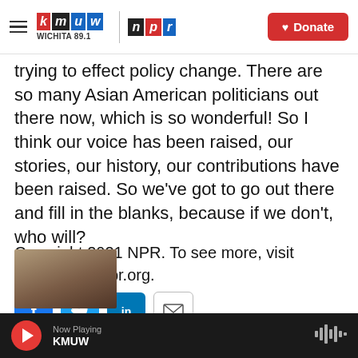KMUW Wichita 89.1 | NPR | Donate
trying to effect policy change. There are so many Asian American politicians out there now, which is so wonderful! So I think our voice has been raised, our stories, our history, our contributions have been raised. So we've got to go out there and fill in the blanks, because if we don't, who will?
Copyright 2021 NPR. To see more, visit https://www.npr.org.
[Figure (infographic): Social share buttons: Facebook (blue), Twitter (blue), LinkedIn (blue), Email (white with border)]
[Figure (photo): Partial thumbnail of a person, bottom left corner of content area]
Now Playing KMUW